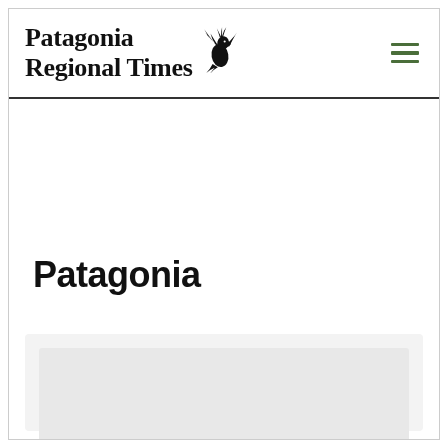Patagonia Regional Times
Patagonia
[Figure (other): Light grey card/content placeholder area at the bottom of the page]